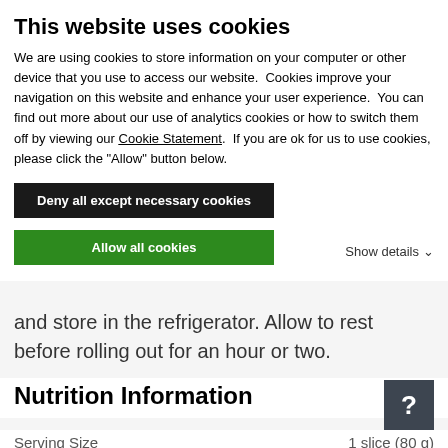This website uses cookies
We are using cookies to store information on your computer or other device that you use to access our website.  Cookies improve your navigation on this website and enhance your user experience.  You can find out more about our use of analytics cookies or how to switch them off by viewing our Cookie Statement.  If you are ok for us to use cookies, please click the "Allow" button below.
Deny all except necessary cookies
Allow all cookies
Show details
and store in the refrigerator. Allow to rest before rolling out for an hour or two.
Nutrition Information
| Serving Size | 1 slice (80 g) |
| --- | --- |
| Amount Per Serving |  |
Amount Per Serving